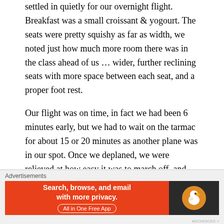...and a full with a few mid the return. Everyone settled in quietly for our overnight flight. Breakfast was a small croissant & yogourt. The seats were pretty squishy as far as width, we noted just how much more room there was in the class ahead of us … wider, further reclining seats with more space between each seat, and a proper foot rest.
Our flight was on time, in fact we had been 6 minutes early, but we had to wait on the tarmac for about 15 or 20 minutes as another plane was in our spot. Once we deplaned, we were relieved at how easy it was to march off, and avoid waiting at the luggage carousels. There was a literal WALL of baggage in the baggage claim area so we were glad to have made the extra effort to avoid checking bags. (A relative of ours just
Advertisements
[Figure (other): DuckDuckGo advertisement banner: orange left side with text 'Search, browse, and email with more privacy. All in One Free App' and dark right side with DuckDuckGo logo]